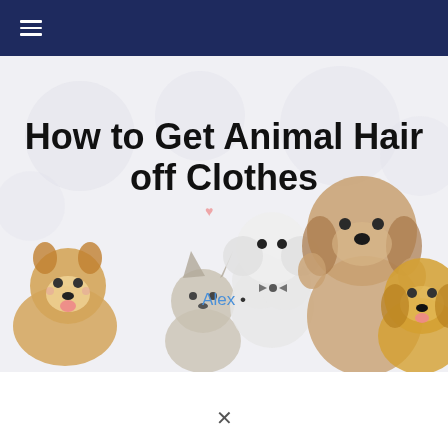☰ (navigation bar)
[Figure (illustration): Hero banner with cartoon animals (shiba inu, cat, white poodle, large tan dog, golden retriever) lined up along the bottom on a light gray background]
How to Get Animal Hair off Clothes
Alex •